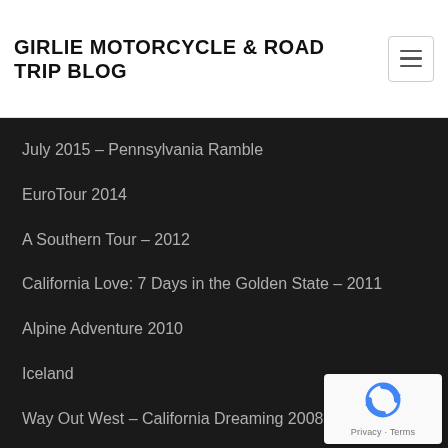GIRLIE MOTORCYCLE & ROAD TRIP BLOG
July 2015 – Pennsylvania Ramble
EuroTour 2014
A Southern Tour – 2012
California Love: 7 Days in the Golden State – 2011
Alpine Adventure 2010
Iceland
Way Out West – California Dreaming 2008
[Figure (logo): reCAPTCHA badge with Privacy and Terms text]